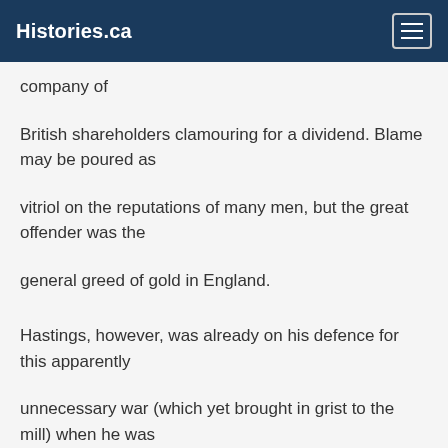Histories.ca
company of
British shareholders clamouring for a dividend. Blame may be poured as
vitriol on the reputations of many men, but the great offender was the
general greed of gold in England.
Hastings, however, was already on his defence for this apparently
unnecessary war (which yet brought in grist to the mill) when he was